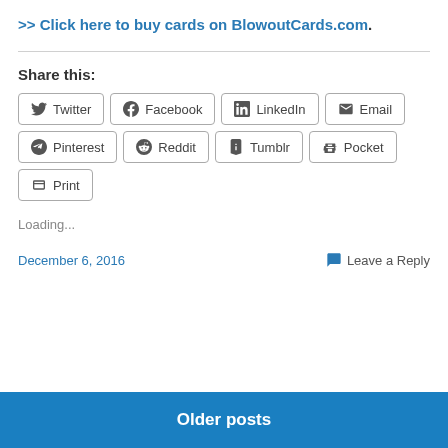>> Click here to buy cards on BlowoutCards.com.
Share this:
Twitter  Facebook  LinkedIn  Email  Pinterest  Reddit  Tumblr  Pocket  Print
Loading...
December 6, 2016    Leave a Reply
Older posts